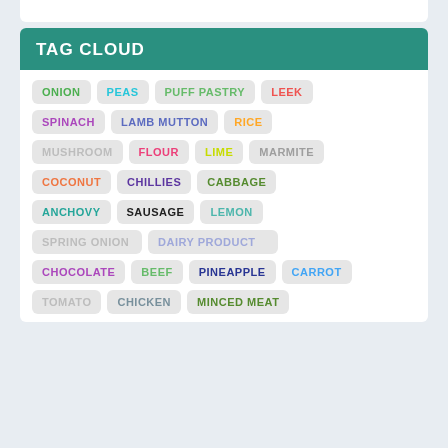TAG CLOUD
ONION
PEAS
PUFF PASTRY
LEEK
SPINACH
LAMB MUTTON
RICE
MUSHROOM
FLOUR
LIME
MARMITE
COCONUT
CHILLIES
CABBAGE
ANCHOVY
SAUSAGE
LEMON
SPRING ONION
DAIRY PRODUCT
CHOCOLATE
BEEF
PINEAPPLE
CARROT
TOMATO
CHICKEN
MINCED MEAT